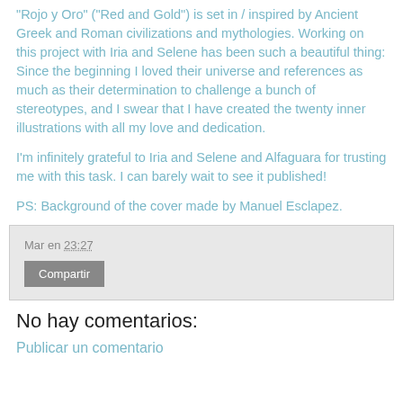"Rojo y Oro" ("Red and Gold") is set in / inspired by Ancient Greek and Roman civilizations and mythologies. Working on this project with Iria and Selene has been such a beautiful thing: Since the beginning I loved their universe and references as much as their determination to challenge a bunch of stereotypes, and I swear that I have created the twenty inner illustrations with all my love and dedication.
I'm infinitely grateful to Iria and Selene and Alfaguara for trusting me with this task. I can barely wait to see it published!
PS: Background of the cover made by Manuel Esclapez.
Mar en 23:27
Compartir
No hay comentarios:
Publicar un comentario